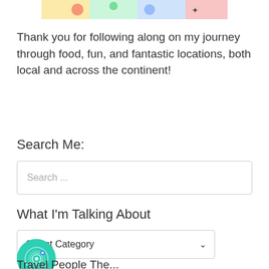[Figure (photo): Partial photo strip at top showing colorful items and a person with tattoo]
Thank you for following along on my journey through food, fun, and fantastic locations, both local and across the continent!
Search Me:
[Figure (screenshot): Search input box with placeholder text 'Search ...']
What I'm Talking About
[Figure (screenshot): Select Category dropdown with teal fingerprint circle overlay]
Travel People The...